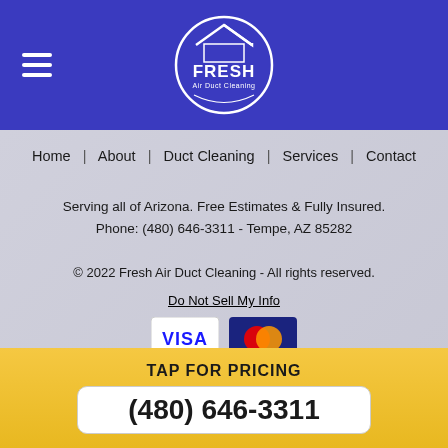[Figure (logo): Fresh Air Duct Cleaning logo — circular badge with house/roof icon, 'FRESH' in large text, 'Air Duct Cleaning' below, on blue background with white circle border]
Home | About | Duct Cleaning | Services | Contact
Serving all of Arizona. Free Estimates & Fully Insured.
Phone: (480) 646-3311 - Tempe, AZ 85282
© 2022 Fresh Air Duct Cleaning - All rights reserved.
Do Not Sell My Info
[Figure (other): Payment method logos: VISA, Mastercard (red/yellow overlapping circles on dark blue), American Express (grey card), cash/green rectangle, Discover (orange/white)]
TAP FOR PRICING
(480) 646-3311